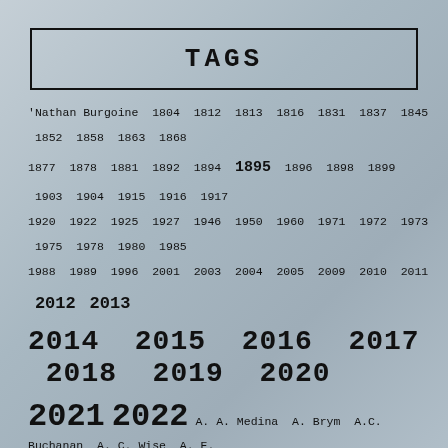TAGS
'Nathan Burgoine 1804 1812 1813 1816 1831 1837 1845 1852 1858 1863 1868 1877 1878 1881 1892 1894 1895 1896 1898 1899 1903 1904 1915 1916 1917 1920 1922 1925 1927 1946 1950 1960 1971 1972 1973 1975 1978 1980 1985 1988 1989 1996 2001 2003 2004 2005 2009 2010 2011 2012 2013 2014 2015 2016 2017 2018 2019 2020 2021 2022 A. A. Medina A. Brym A.C. Buchanan A. C. Wise A. E. Ash A. E. Prevost A. J. Fitzwater A. J. Ward A. K. Alliss A.M. Faller A. M. Matte A. Merc Rustad A. R. Collins A.T. Greenblatt A. T. Sayre Abandoned Places Abdalmuti Maqboul Adam Dean Adam Lock Adam McOmber Adam R. Shannon Adam Stemple Adam Talib Adriana C. Grigore Adrienne Celt